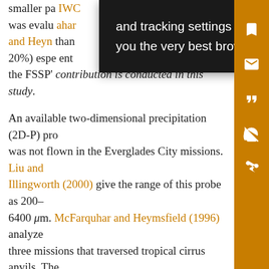smaller pa... IWC was evalu... McFarquhar and Heyn... than 20%) espe... ent the FSSP' contribution is conducted in this study.
[Figure (screenshot): Cookie/tracking consent tooltip overlay with dark background reading: 'and tracking settings to store information that help give you the very best browsing experience.']
An available two-dimensional precipitation (2D-P) probe was not flown in the Everglades City missions. Liu and Illingworth (2000) give the range of this probe as 200–6400 μm. McFarquhar and Heymsfield (1996) analyzed three missions that traversed tropical cirrus anvils. They did not use the 2D-P data because the ice particles were not measured well by the probe, but did show 2D-C particle concentrations for particles >1000 μm. The presence of some particles >1000 μm is likely in the cirrus anvil clouds observed in the Everglades City missions. Particles in the range 1000–6400 μm were